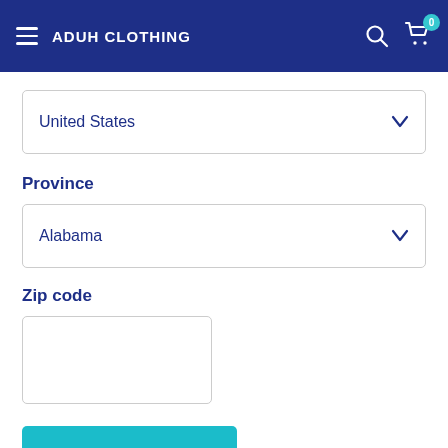ADUH CLOTHING
United States
Province
Alabama
Zip code
Estimate